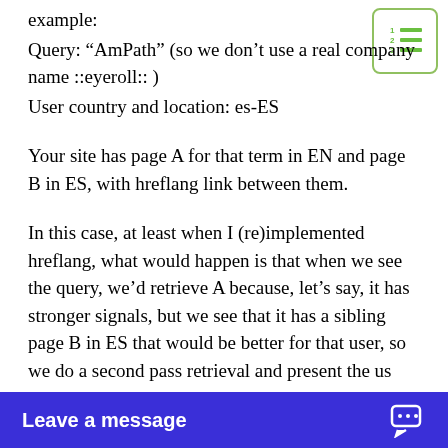example:
Query: “AmPath” (so we don’t use a real company name ::eyeroll:: )
User country and location: es-ES
[Figure (other): Numbered list icon with green lines in a rounded rectangle border]
Your site has page A for that term in EN and page B in ES, with hreflang link between them.
In this case, at least when I (re)implemented hreflang, what would happen is that when we see the query, we’d retrieve A because, let’s say, it has stronger signals, but we see that it has a sibling page B in ES that would be better for that user, so we do a second pass retrieval and present the us
Leave a message